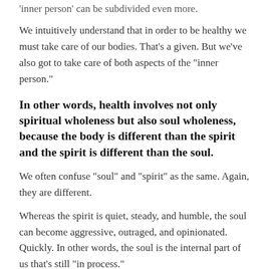‘inner person’ can be subdivided even more.
We intuitively understand that in order to be healthy we must take care of our bodies. That’s a given. But we’ve also got to take care of both aspects of the “inner person.”
In other words, health involves not only spiritual wholeness but also soul wholeness, because the body is different than the spirit and the spirit is different than the soul.
We often confuse “soul” and “spirit” as the same. Again, they are different.
Whereas the spirit is quiet, steady, and humble, the soul can become aggressive, outraged, and opinionated. Quickly. In other words, the soul is the internal part of us that’s still “in process.”